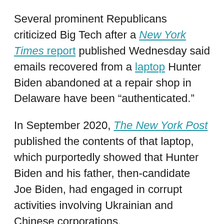Several prominent Republicans criticized Big Tech after a New York Times report published Wednesday said emails recovered from a laptop Hunter Biden abandoned at a repair shop in Delaware have been “authenticated.”
In September 2020, The New York Post published the contents of that laptop, which purportedly showed that Hunter Biden and his father, then-candidate Joe Biden, had engaged in corrupt activities involving Ukrainian and Chinese corporations.
Per the Times article, a grand jury is continuing to investigate Hunter Biden’s international business dealings. The 25th paragraph of that article contained a reference to emails between